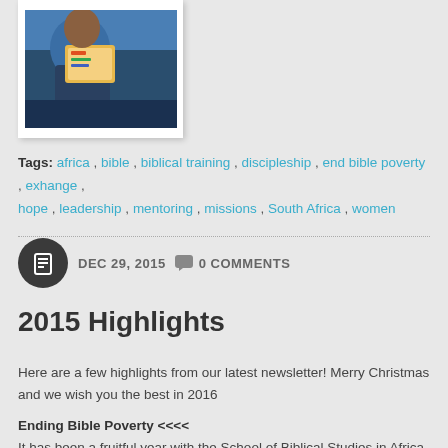[Figure (photo): Photo of a person holding a colorful book or educational material, partial view at top of page]
Tags: africa, bible, biblical training, discipleship, end bible poverty, exhange, hope, leadership, mentoring, missions, South Africa, women
DEC 29, 2015   0 COMMENTS
2015 Highlights
Here are a few highlights from our latest newsletter! Merry Christmas and we wish you the best in 2016
Ending Bible Poverty <<<<
It has been a fruitful year with the School of Biblical Studies in Africa. Chris leads the Hub for these schools in the African continent. This role includes providing support, encouragement, and training to the schools